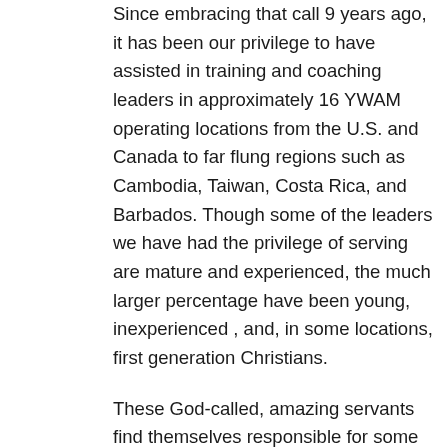Since embracing that call 9 years ago, it has been our privilege to have assisted in training and coaching leaders in approximately 16 YWAM operating locations from the U.S. and Canada to far flung regions such as Cambodia, Taiwan, Costa Rica, and Barbados. Though some of the leaders we have had the privilege of serving are mature and experienced, the much larger percentage have been young, inexperienced , and, in some locations, first generation Christians.
These God-called, amazing servants find themselves responsible for some of the most innovative ministry expressions we have ever seen, ranging from the foundational YWAM Discipleship Training School (DTS) to numerous other secondary expressions such as the School of Biblical Studies (SBS) and School of Community Development, just to name a couple.